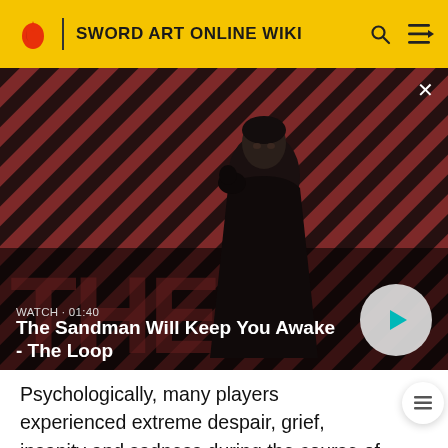SWORD ART ONLINE WIKI
[Figure (screenshot): Video thumbnail showing a dark-dressed figure with a raven on shoulder against a red and dark diagonal striped background. Title text reads 'WATCH · 01:40' and 'The Sandman Will Keep You Awake - The Loop'. A play button is visible on the right.]
Psychologically, many players experienced extreme despair, grief, insanity and sadness during the course of the death game. Of the total 3,853 deaths, over half occurred in the first month of SAO. Combined with lethal